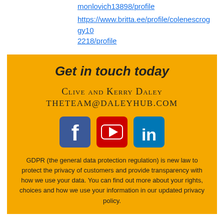https://www.nu...monlovich13898/profile
https://www.britta.ee/profile/colenescroggy102218/profile
Get in touch today
Clive and Kerry Daley
THETEAM@DALEYHUB.COM
[Figure (infographic): Facebook, YouTube, and LinkedIn social media icons]
GDPR (the general data protection regulation) is new law to protect the privacy of customers and provide transparency with how we use your data. You can find out more about your rights, choices and how we use your information in our updated privacy policy.